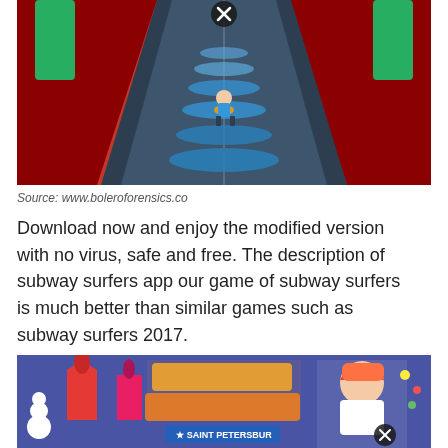[Figure (screenshot): Subway Surfers mobile game screenshot showing a runner character on a railway track with red walls on both sides, an X close button visible at top]
Source: www.boleroforensics.co
Download now and enjoy the modified version with no virus, safe and free. The description of subway surfers app our game of subway surfers is much better than similar games such as subway surfers 2017.
[Figure (screenshot): Subway Surfers Saint Petersburg world tour promotional image showing the game logo and a character in a hooded outfit, with Russian-style architecture in the background]